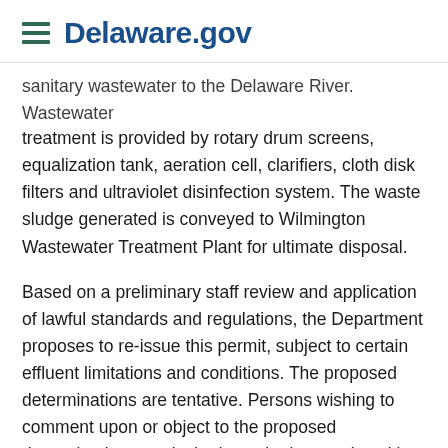Delaware.gov
sanitary wastewater to the Delaware River. Wastewater treatment is provided by rotary drum screens, equalization tank, aeration cell, clarifiers, cloth disk filters and ultraviolet disinfection system. The waste sludge generated is conveyed to Wilmington Wastewater Treatment Plant for ultimate disposal.
Based on a preliminary staff review and application of lawful standards and regulations, the Department proposes to re-issue this permit, subject to certain effluent limitations and conditions. The proposed determinations are tentative. Persons wishing to comment upon or object to the proposed determinations are invited to submit same in writing to the Surface Water Discharges Section of the Division of Water, at the address listed below, no later than 30 days from this notice. All comments received prior to said date will be considered in the formulation of final